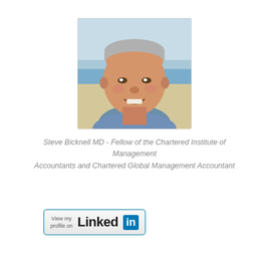[Figure (photo): Headshot of a middle-aged man with short grey hair, smiling, wearing a blue checkered shirt, photographed outdoors with a beach/sea background]
Steve Bicknell MD - Fellow of the Chartered Institute of Management Accountants and Chartered Global Management Accountant
[Figure (logo): LinkedIn 'View my profile on LinkedIn' button with teal border, showing LinkedIn logo and 'in' blue box]